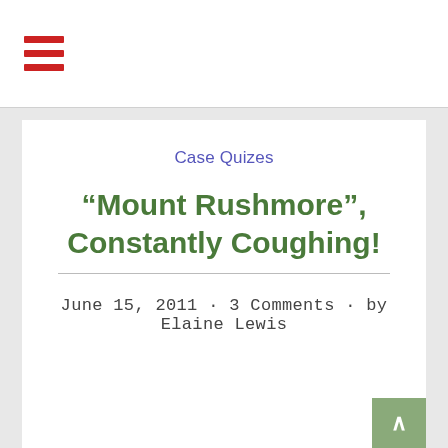☰ (hamburger menu icon)
Case Quizes
“Mount Rushmore”, Constantly Coughing!
June 15, 2011 · 3 Comments · by Elaine Lewis